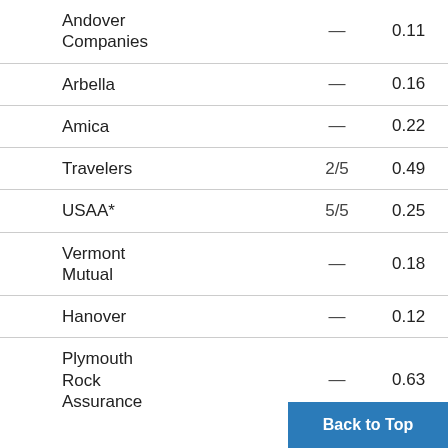| Company | Rating | Value |
| --- | --- | --- |
| Andover Companies | — | 0.11 |
| Arbella | — | 0.16 |
| Amica | — | 0.22 |
| Travelers | 2/5 | 0.49 |
| USAA* | 5/5 | 0.25 |
| Vermont Mutual | — | 0.18 |
| Hanover | — | 0.12 |
| Plymouth Rock Assurance | — | 0.63 |
Back to Top